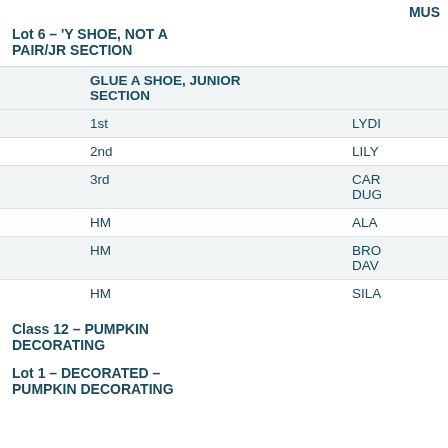MUS
Lot 6 – 'Y SHOE, NOT A PAIR/JR SECTION
GLUE A SHOE, JUNIOR SECTION
1st — LYDI
2nd — LILY
3rd — CAR DUG
HM — ALA
HM — BRO DAV
HM — SILA
Class 12 – PUMPKIN DECORATING
Lot 1 – DECORATED – PUMPKIN DECORATING